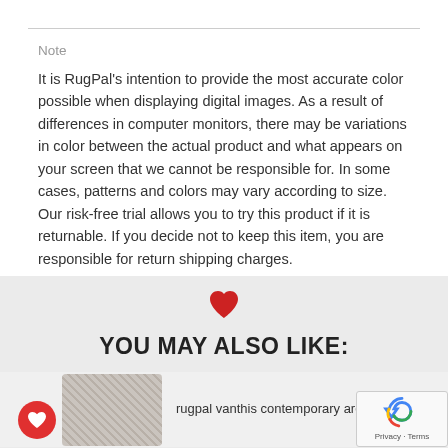Note
It is RugPal's intention to provide the most accurate color possible when displaying digital images. As a result of differences in computer monitors, there may be variations in color between the actual product and what appears on your screen that we cannot be responsible for. In some cases, patterns and colors may vary according to size. Our risk-free trial allows you to try this product if it is returnable. If you decide not to keep this item, you are responsible for return shipping charges.
YOU MAY ALSO LIKE:
rugpal vanthis contemporary area rug collec…